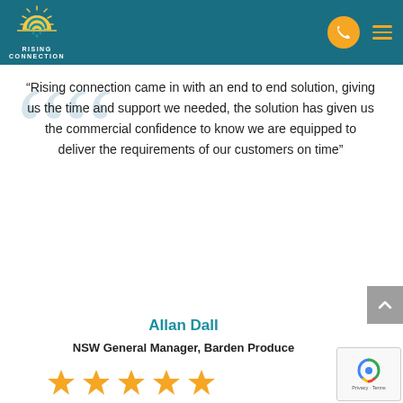[Figure (logo): Rising Connection logo with sun/wifi icon and teal header bar with phone button and hamburger menu]
“Rising connection came in with an end to end solution, giving us the time and support we needed, the solution has given us the commercial confidence to know we are equipped to deliver the requirements of our customers on time”
Allan Dall
NSW General Manager, Barden Produce
[Figure (illustration): Five orange star rating icons]